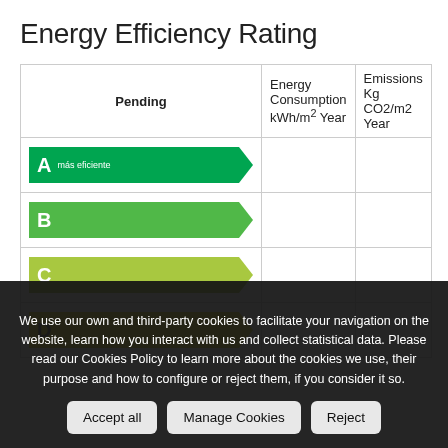Energy Efficiency Rating
| Pending | Energy Consumption kWh/m2 Year | Emissions Kg CO2/m2 Year |
| --- | --- | --- |
| A más eficiente |  |  |
| B |  |  |
| C |  |  |
| D |  |  |
We use our own and third-party cookies to facilitate your navigation on the website, learn how you interact with us and collect statistical data. Please read our Cookies Policy to learn more about the cookies we use, their purpose and how to configure or reject them, if you consider it so.